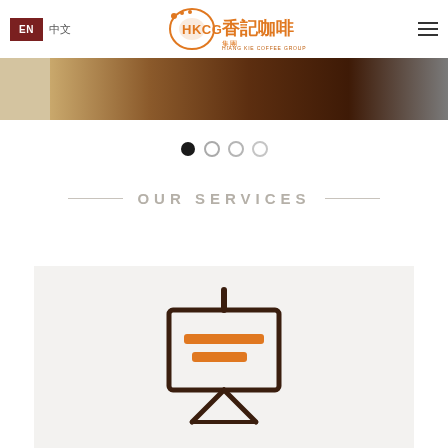EN 中文 — Hiang Kie Coffee Group (HKCG 香記咖啡集團)
[Figure (photo): Partial banner image strip showing a coffee or wood-toned gradient background, brown tones fading right]
[Figure (infographic): Carousel navigation dots: one filled dark, three lighter outlined circles]
OUR SERVICES
[Figure (illustration): Presentation board icon with a whiteboard on a stand showing two horizontal orange lines (text placeholder lines), drawn in dark brown outline style]